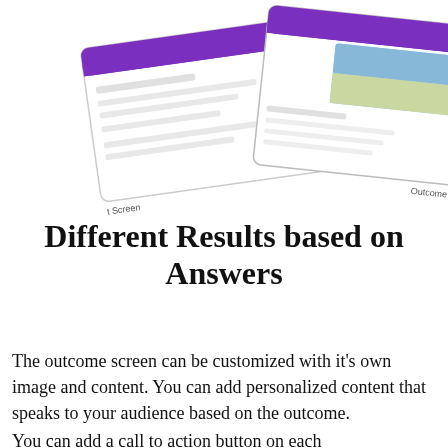[Figure (screenshot): Illustration of overlapping tablet/device screens showing a quiz or form interface with labels 't Screen' on the left and 'Outcome' on the right, with purple header and an image visible on one screen.]
Different Results based on Answers
The outcome screen can be customized with it's own image and content. You can add personalized content that speaks to your audience based on the outcome.
You can add a call to action button on each